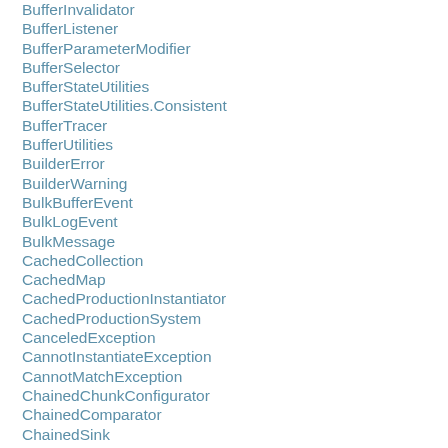BufferInvalidator
BufferListener
BufferParameterModifier
BufferSelector
BufferStateUtilities
BufferStateUtilities.Consistent
BufferTracer
BufferUtilities
BuilderError
BuilderWarning
BulkBufferEvent
BulkLogEvent
BulkMessage
CachedCollection
CachedMap
CachedProductionInstantiator
CachedProductionSystem
CanceledException
CannotInstantiateException
CannotMatchException
ChainedChunkConfigurator
ChainedComparator
ChainedSink
ChangeTracker
ChunkActivationComparator
ChunkCondition
ChunkData
ChunkEvent